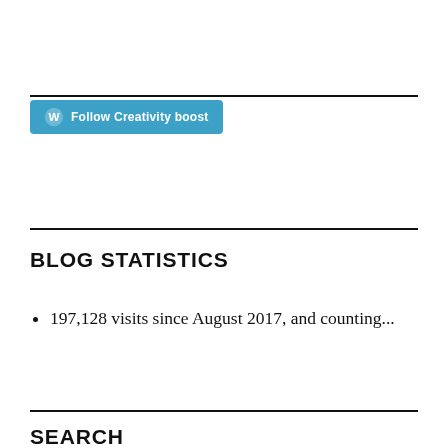[Figure (other): WordPress Follow button with teal/blue background reading 'Follow Creativity boost' with WordPress logo icon]
BLOG STATISTICS
197,128 visits since August 2017, and counting...
SEARCH